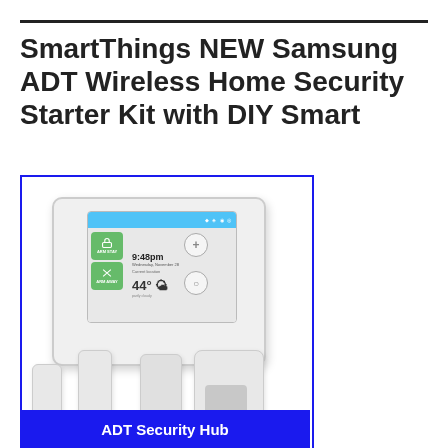SmartThings NEW Samsung ADT Wireless Home Security Starter Kit with DIY Smart
[Figure (photo): Samsung ADT SmartThings Wireless Home Security Starter Kit product photo showing the ADT Security Hub touchscreen panel displaying 9:48pm and 44° weather, alongside door/window sensors and a motion sensor. eBay watermark visible.]
ADT Security Hub